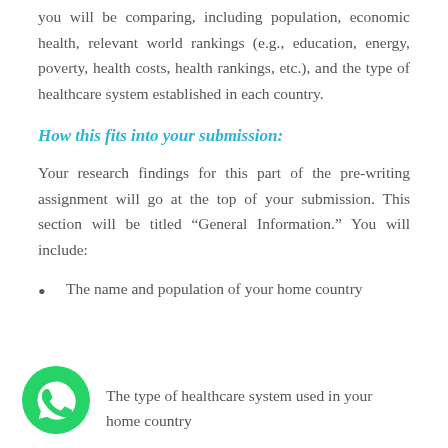you will be comparing, including population, economic health, relevant world rankings (e.g., education, energy, poverty, health costs, health rankings, etc.), and the type of healthcare system established in each country.
How this fits into your submission:
Your research findings for this part of the pre-writing assignment will go at the top of your submission. This section will be titled “General Information.” You will include:
The name and population of your home country
The type of healthcare system used in your home country